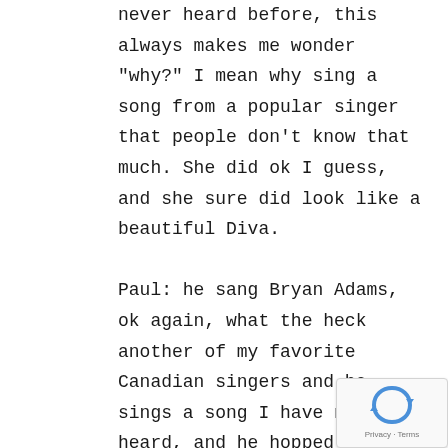never heard before, this always makes me wonder "why?" I mean why sing a song from a popular singer that people don't know that much. She did ok I guess, and she sure did look like a beautiful Diva.

Paul: he sang Bryan Adams, ok again, what the heck another of my favorite Canadian singers and he sings a song I have never heard, and he hopped around the stage like Jiminy Cricket, half the time I thought he had to pee the way he bent over, and PLEASE PLEASE someone buy this man a bigger jacket!! I still love his unique voice and quirkiness, I just wish he had of sang a song I knew.